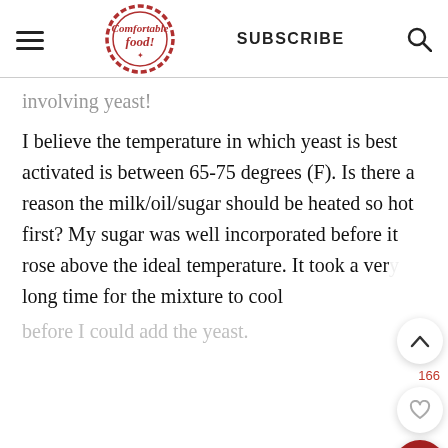Comfortable food — SUBSCRIBE
involving yeast!
I believe the temperature in which yeast is best activated is between 65-75 degrees (F). Is there a reason the milk/oil/sugar should be heated so hot first? My sugar was well incorporated before it rose above the ideal temperature. It took a very long time for the mixture to cool
before I could add the yeast.